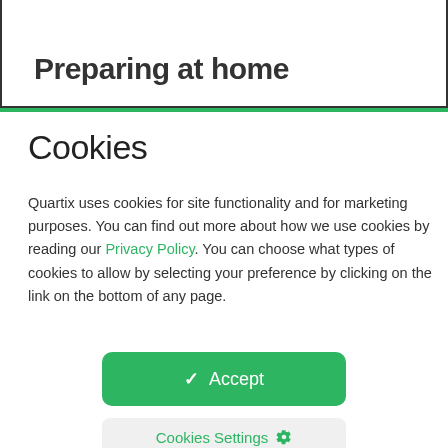Preparing at home
Cookies
Quartix uses cookies for site functionality and for marketing purposes. You can find out more about how we use cookies by reading our Privacy Policy. You can choose what types of cookies to allow by selecting your preference by clicking on the link on the bottom of any page.
✓ Accept
Cookies Settings ⚙